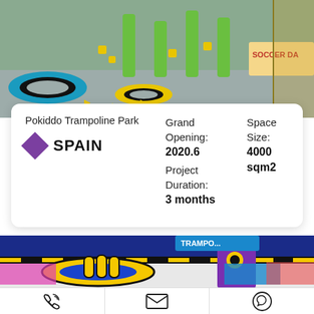[Figure (photo): Interior of Pokiddo Trampoline Park in Spain showing trampolines with yellow and blue rings, green pillars, gray floor with yellow arrows, and a Soccer Darts sign on the right.]
Pokiddo Trampoline Park
SPAIN
Grand Opening:
2020.6
Project Duration:
3 months
Space Size:
4000 sqm2
[Figure (photo): Interior of a colorful trampoline park with yellow and black inflatable obstacle rings, blue floor trampolines, purple foam blocks with a smiley face character, and a TRAMPOLINE sign in the background.]
[Figure (infographic): Footer bar with three icons: phone/call icon, email/envelope icon, and WhatsApp icon.]